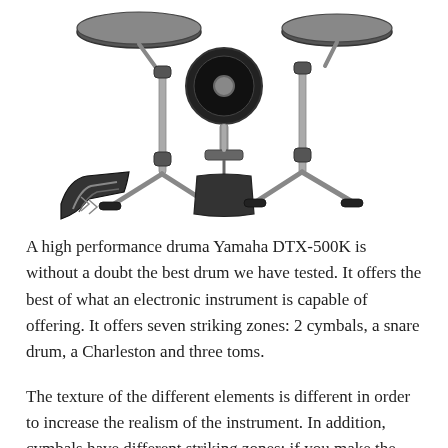[Figure (photo): Three electronic drum pads/components on stands (two cymbal pads on either side, one bass drum pedal/pad in the center) and two hi-hat/kick pedals shown at an angle — Yamaha DTX-500K style electronic drum kit components shown on white background.]
A high performance druma Yamaha DTX-500K is without a doubt the best drum we have tested. It offers the best of what an electronic instrument is capable of offering. It offers seven striking zones: 2 cymbals, a snare drum, a Charleston and three toms.
The texture of the different elements is different in order to increase the realism of the instrument. In addition, cymbals have different striking zones: if you make the center of the